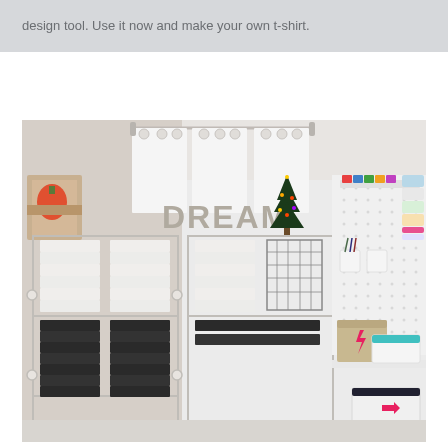design tool. Use it now and make your own t-shirt.
[Figure (photo): Interior of a craft/t-shirt studio with wire shelving racks holding folded white and black t-shirts in the foreground. Behind the racks is a white pegboard wall with holders for tools, rolls of vinyl/fabric, and supplies. Decorative letters spelling 'DREAM' and a small Christmas tree are visible on a shelf above the rack. Storage boxes and containers are on a white desk to the right.]